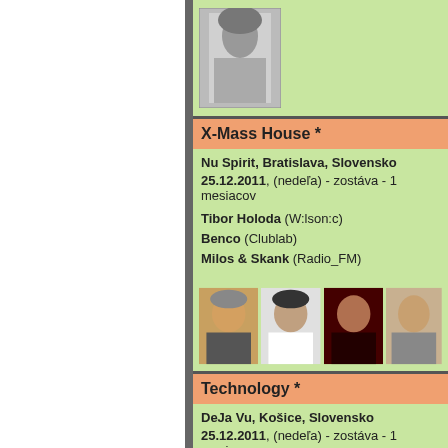[Figure (photo): Black and white photo of a person with dreadlocks]
X-Mass House *
Nu Spirit, Bratislava, Slovensko
25.12.2011, (nedeľa) - zostáva - 1... mesiacov
Tibor Holoda (W:lson:c)
Benco (Clublab)
Milos & Skank (Radio_FM)
[Figure (photo): Row of four DJ photos]
Technology *
DeJa Vu, Košice, Slovensko
25.12.2011, (nedeľa) - zostáva - 1... mesiacov